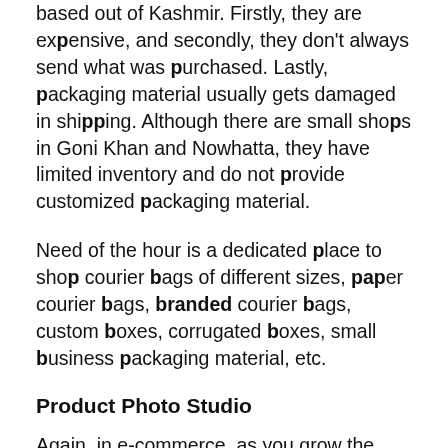based out of Kashmir. Firstly, they are expensive, and secondly, they don't always send what was purchased. Lastly, packaging material usually gets damaged in shipping. Although there are small shops in Goni Khan and Nowhatta, they have limited inventory and do not provide customized packaging material.
Need of the hour is a dedicated place to shop courier bags of different sizes, paper courier bags, branded courier bags, custom boxes, corrugated boxes, small business packaging material, etc.
Product Photo Studio
Again, in e-commerce, as you grow the need for quality product photos increases. Finding a proper location, searching for a budget model, taking perfect photos, and editing them is a very tedious